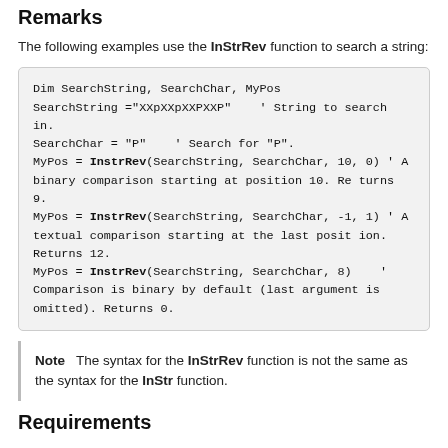Remarks
The following examples use the InStrRev function to search a string:
Dim SearchString, SearchChar, MyPos
SearchString ="XXpXXpXXPXXP"    ' String to search in.
SearchChar = "P"    ' Search for "P".
MyPos = InstrRev(SearchString, SearchChar, 10, 0) ' A binary comparison starting at position 10. Returns 9.
MyPos = InstrRev(SearchString, SearchChar, -1, 1) ' A textual comparison starting at the last position. Returns 12.
MyPos = InstrRev(SearchString, SearchChar, 8)    ' Comparison is binary by default (last argument is omitted). Returns 0.
Note  The syntax for the InStrRev function is not the same as the syntax for the InStr function.
Requirements